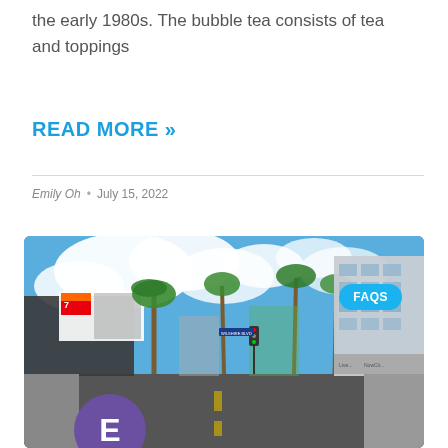the early 1980s. The bubble tea consists of tea and toppings
READ MORE »
Emily Oh  •  July 15, 2022
[Figure (photo): Street-level photo of a city boulevard with palm trees, a 7-Eleven billboard, modern buildings, and a blue sky with clouds. A FAQS badge overlays the top right. A purple circle avatar with letter E appears at the bottom left.]